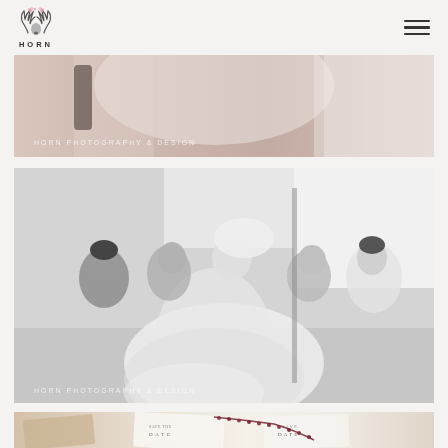[Figure (logo): Horn Photography & Design logo with antler and floral icon above the word HORN in spaced capitals]
[Figure (photo): Partial view of bridal getting-ready scene in warm tones, with watermark text HORN PHOTOGRAPHY & DESIGN]
[Figure (photo): Black and white photo of bridesmaids and bride laughing and celebrating during getting-ready moment, with watermark HORN PHOTOGRAPHY & DESIGN]
[Figure (photo): Partial view of wedding stationery flat-lay including save-the-date cards and dark berry rosary beads]